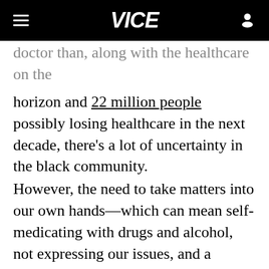VICE
doctor than, along with the healthcare on the horizon and 22 million people possibly losing healthcare in the next decade, there's a lot of uncertainty in the black community.
However, the need to take matters into our own hands—which can mean self-medicating with drugs and alcohol, not expressing our issues, and a slightly healthier option: relying on communal spaces to vent where individuals have similar backgrounds and experiences. Places like church, or yes, the barbershop.
"In these public communal spaces, there is less